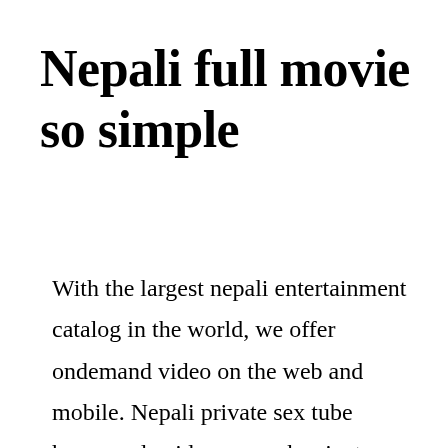Nepali full movie so simple
With the largest nepali entertainment catalog in the world, we offer ondemand video on the web and mobile. Nepali private sex tube homemade videos, search private nepali sex amateur videos, search nepali sex homemade private tube, private search nepali porn tube homemade amateur movies, found private